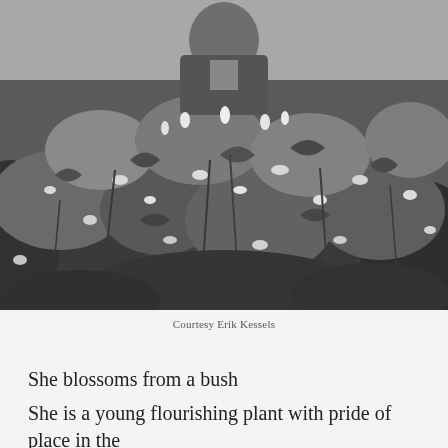[Figure (photo): Black and white photograph of a person partially obscured by dense flowering bushes and plants, with leafy foliage filling most of the frame.]
Courtesy Erik Kessels
She blossoms from a bush
She is a young flourishing plant with pride of place in the